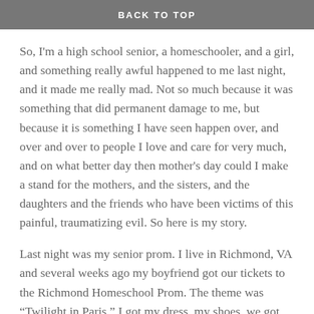BACK TO TOP
So, I'm a high school senior, a homeschooler, and a girl, and something really awful happened to me last night, and it made me really mad. Not so much because it was something that did permanent damage to me, but because it is something I have seen happen over, and over and over to people I love and care for very much, and on what better day then mother's day could I make a stand for the mothers, and the sisters, and the daughters and the friends who have been victims of this painful, traumatizing evil. So here is my story.
Last night was my senior prom. I live in Richmond, VA and several weeks ago my boyfriend got our tickets to the Richmond Homeschool Prom. The theme was “Twilight in Paris.” I got my dress, my shoes, we got our flowers and we waited eagerly for Saturday to arrive. My dress was gorgeous, silver, and sparkly and I got it at Macy's and was